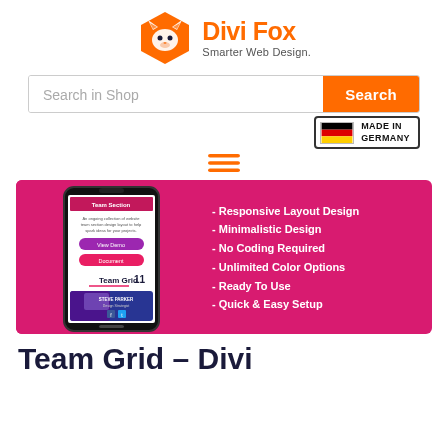[Figure (logo): Divi Fox logo with orange hexagon fox icon and text 'Divi Fox / Smarter Web Design.']
[Figure (screenshot): Search bar with 'Search in Shop' placeholder and orange Search button]
[Figure (logo): Made in Germany badge with German flag]
[Figure (infographic): Hamburger menu icon (three orange lines)]
[Figure (screenshot): Product screenshot on pink/magenta background showing a phone mockup with Team Grid 11 layout and feature list: Responsive Layout Design, Minimalistic Design, No Coding Required, Unlimited Color Options, Ready To Use, Quick & Easy Setup]
Team Grid – Divi